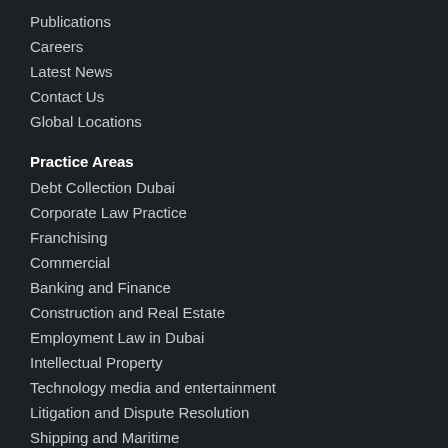Publications
Careers
Latest News
Contact Us
Global Locations
Practice Areas
Debt Collection Dubai
Corporate Law Practice
Franchising
Commercial
Banking and Finance
Construction and Real Estate
Employment Law in Dubai
Intellectual Property
Technology media and entertainment
Litigation and Dispute Resolution
Shipping and Maritime
Mergers & Acquisitions
Industries Sector
Mining
Health Care